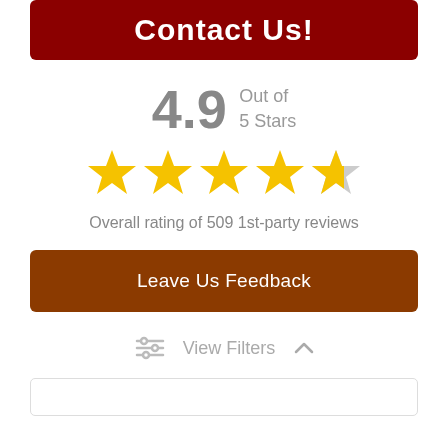[Figure (other): Red 'Contact Us!' button at top of page]
4.9 Out of 5 Stars
[Figure (other): 4.9 out of 5 stars rating displayed with 4 full gold stars, 1 partial gold/grey star]
Overall rating of 509 1st-party reviews
[Figure (other): Brown 'Leave Us Feedback' button]
View Filters